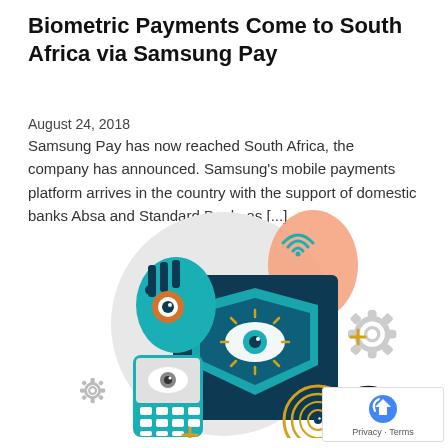Biometric Payments Come to South Africa via Samsung Pay
August 24, 2018
Samsung Pay has now reached South Africa, the company has announced. Samsung's mobile payments platform arrives in the country with the support of domestic banks Absa and Standard Bank, as [...]
[Figure (illustration): Illustration showing biometric payment concepts: an eye in a shield emblem, a smartphone with a keypad, a face with eye recognition, wireless signals, fingerprint pattern, and iris scan icons, rendered in teal, navy, gold and peach tones on a circular background with gear icons.]
Privacy · Terms